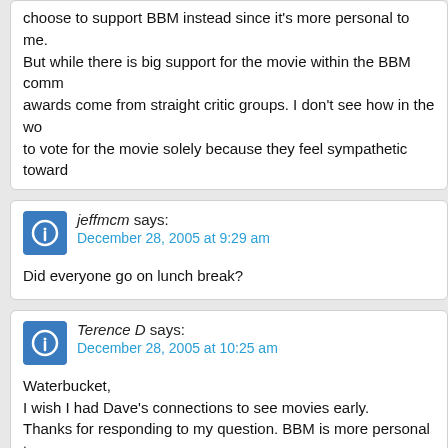choose to support BBM instead since it's more personal to me. But while there is big support for the movie within the BBM community, awards come from straight critic groups. I don't see how in the world people to vote for the movie solely because they feel sympathetic towards
jeffmcm says:
December 28, 2005 at 9:29 am

Did everyone go on lunch break?
Terence D says:
December 28, 2005 at 10:25 am

Waterbucket,
I wish I had Dave's connections to see movies early.
Thanks for responding to my question. BBM is more personal to me. The whole point is they are going to rally in support of it. And I think they should support a film that speaks to them.
LesterFreed says:
December 28, 2005 at 10:40 am